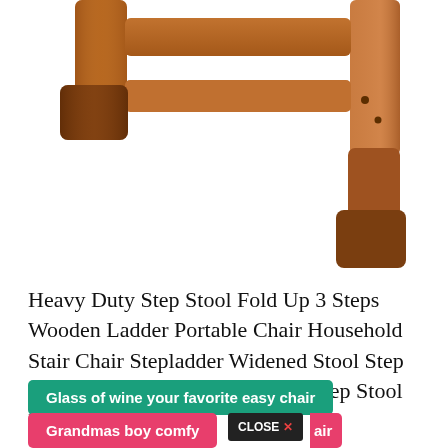[Figure (photo): Close-up of a wooden step stool/ladder, showing brown wooden legs and frame, cropped from above — only lower portion of the stool is visible.]
Heavy Duty Step Stool Fold Up 3 Steps Wooden Ladder Portable Chair Household Stair Chair Stepladder Widened Stool Step Stool Wood Step Stool Wooden Step Stool From pinterest.com
Glass of wine your favorite easy chair
Grandmas boy comfy chair